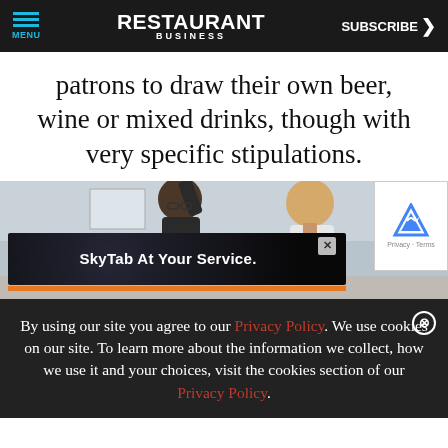MENU | RESTAURANT BUSINESS | SUBSCRIBE >
patrons to draw their own beer, wine or mixed drinks, though with very specific stipulations.
[Figure (photo): Photo of two people (a woman with glasses and a man with blonde hair) appearing to interact with a self-serve beverage dispenser, with an overlaid advertisement banner reading 'SkyTab At Your Service.' and a reCAPTCHA badge visible on the right side.]
By using our site you agree to our Privacy Policy. We use cookies on our site. To learn more about the information we collect, how we use it and your choices, visit the cookies section of our Privacy Policy.